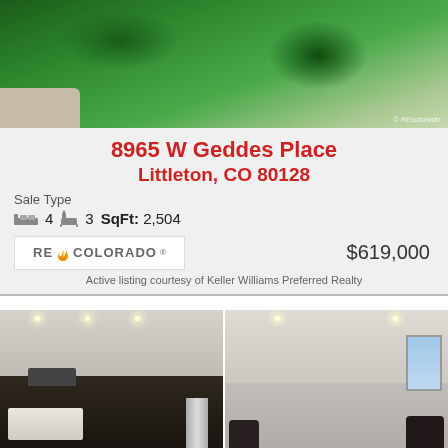[Figure (photo): Aerial/close-up view of green grass lawn with concrete edge, watermark RE Colorado]
8965 W Geddes Place
Littleton, CO 80128
Sale Type
4  3  SqFt: 2,504
[Figure (logo): RE/Colorado logo in white box]
$619,000
Active listing courtesy of Keller Williams Preferred Realty
[Figure (photo): Interior photos: kitchen with dark cabinets and island on left, living room on right]